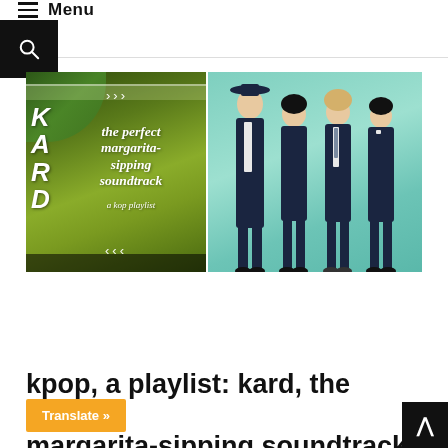Menu
[Figure (photo): Left image: margarita cocktail with lime and mint, overlaid with text 'the perfect margarita-sipping soundtrack' and 'a kop playlist', with KARD letters on the side and chevron decorations]
[Figure (photo): Right image: KARD K-pop group of four members in navy blue formal outfits posed against a mint/teal background]
kpop, a playlist: kard, the perfect margarita-sipping soundtrack